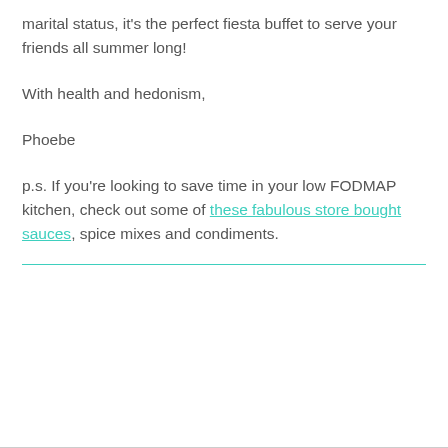marital status, it's the perfect fiesta buffet to serve your friends all summer long!
With health and hedonism,
Phoebe
p.s. If you're looking to save time in your low FODMAP kitchen, check out some of these fabulous store bought sauces, spice mixes and condiments.